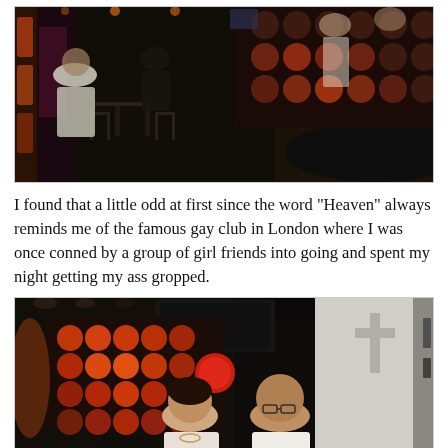[Figure (photo): Interior of a dimly lit restaurant or lounge/club venue. People seated at tables, dark ambiance with decorative circular dots on the wall lit in red/orange tones, pendant lights visible.]
I found that a little odd at first since the word "Heaven" always reminds me of the famous gay club in London where I was once conned by a group of girl friends into going and spent my night getting my ass gropped.
[Figure (photo): Two people posing for a photo inside a venue. A young woman and a man wearing glasses, smiling at the camera. Behind them is a stage area with colorful circular light panels in red/orange, and a cross visible on the wall.]